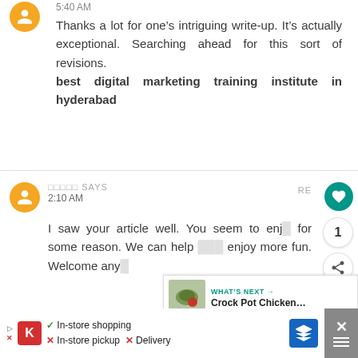5:40 AM
Thanks a lot for one’s intriguing write-up. It’s actually exceptional. Searching ahead for this sort of revisions.
best digital marketing training institute in hyderabad
âââââ SAYS
2:10 AM
I saw your article well. You seem to enjoy for some reason. We can help you enjoy more fun. Welcome anytime.